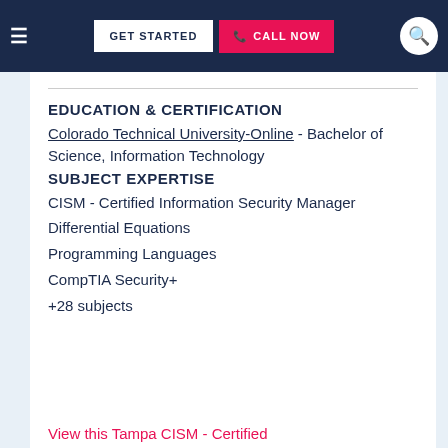GET STARTED  |  CALL NOW
EDUCATION & CERTIFICATION
Colorado Technical University-Online - Bachelor of Science, Information Technology
SUBJECT EXPERTISE
CISM - Certified Information Security Manager
Differential Equations
Programming Languages
CompTIA Security+
+28 subjects
View this Tampa CISM - Certified